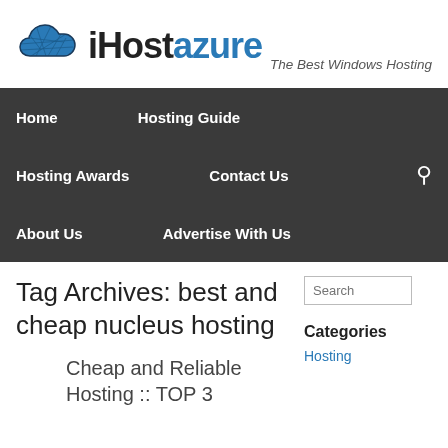[Figure (logo): iHostAzure logo with cloud icon and tagline 'The Best Windows Hosting']
Home | Hosting Guide | Hosting Awards | Contact Us | About Us | Advertise With Us
Tag Archives: best and cheap nucleus hosting
Cheap and Reliable Hosting :: TOP 3
Categories
Hosting